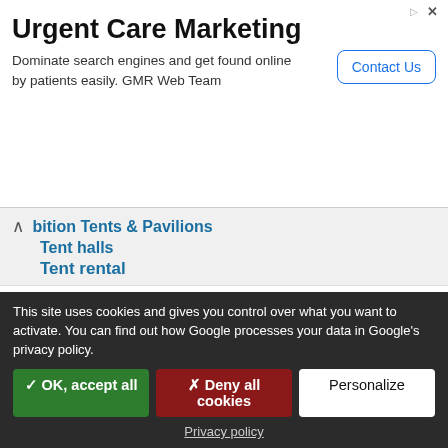[Figure (screenshot): Advertisement banner for Urgent Care Marketing by GMR Web Team with 'Contact Us' button]
bition Tents & Pavilions
Tent halls
Tent rental
Correspondence:
[Figure (photo): Winkels Interior Design Exhibition logo overlaid on warehouse/logistics photo with worker and stacked pallets]
This site uses cookies and gives you control over what you want to activate. You can find out how Google processes your data in Google's privacy policy.
✓ OK, accept all   ✗ Deny all cookies   Personalize
Privacy policy